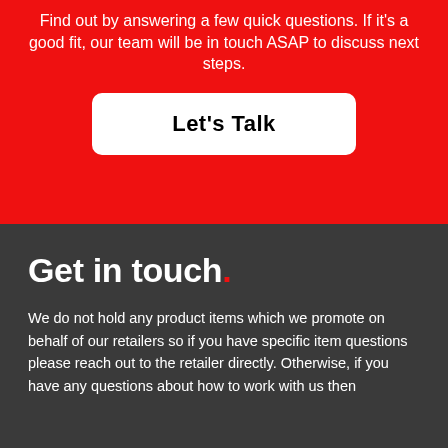Find out by answering a few quick questions. If it's a good fit, our team will be in touch ASAP to discuss next steps.
[Figure (other): White rounded rectangle button with bold black text reading 'Let's Talk' on a red background]
Get in touch.
We do not hold any product items which we promote on behalf of our retailers so if you have specific item questions please reach out to the retailer directly. Otherwise, if you have any questions about how to work with us then